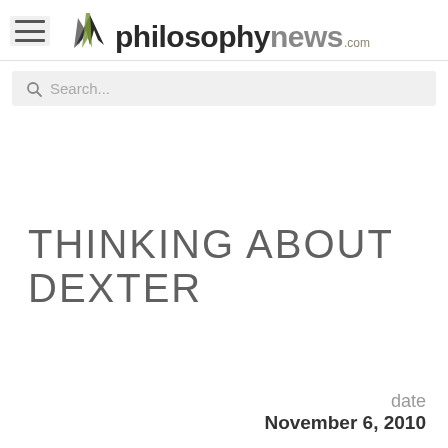philosophynews.com
Search...
THINKING ABOUT DEXTER
date November 6, 2010